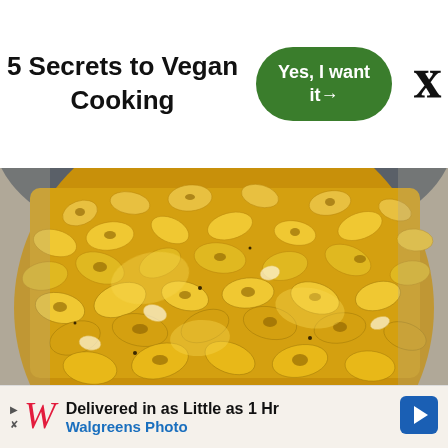5 Secrets to Vegan Cooking
[Figure (other): Green rounded button with text 'Yes, I want it→']
[Figure (other): Close/dismiss button showing bold X]
[Figure (photo): Close-up overhead photo of vegan mac and cheese in a dark pan, showing elbow macaroni coated in a creamy golden-yellow sauce with onions]
[Figure (other): Walgreens Photo advertisement banner: 'Delivered in as Little as 1 Hr' with Walgreens cursive W logo in red and blue arrow icon]